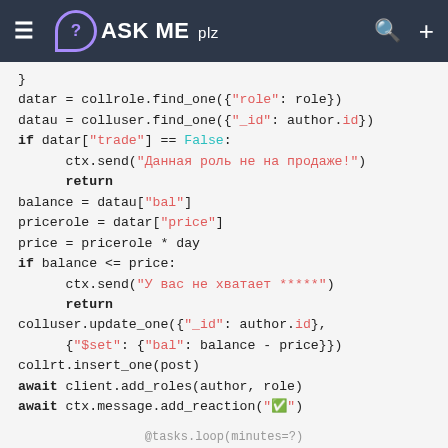ASK ME plz
[Figure (screenshot): Code snippet showing Python bot logic for role trading with balance check and MongoDB operations]